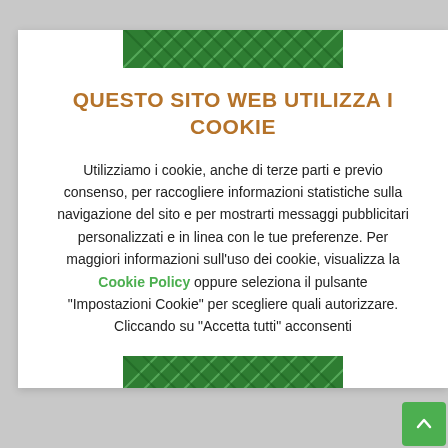[Figure (illustration): Green decorative pattern/logo at the top of the cookie consent card]
QUESTO SITO WEB UTILIZZA I COOKIE
Utilizziamo i cookie, anche di terze parti e previo consenso, per raccogliere informazioni statistiche sulla navigazione del sito e per mostrarti messaggi pubblicitari personalizzati e in linea con le tue preferenze. Per maggiori informazioni sull'uso dei cookie, visualizza la Cookie Policy oppure seleziona il pulsante "Impostazioni Cookie" per scegliere quali autorizzare. Cliccando su "Accetta tutti" acconsenti
[Figure (illustration): Green decorative pattern/logo at the bottom of the cookie consent card]